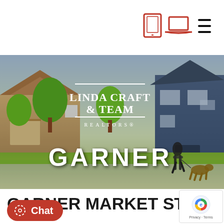Navigation icons: tablet, laptop, menu
[Figure (photo): Hero photo of a suburban neighborhood street with houses, trees, and a person walking a dog. Linda Craft & Team Realtors logo overlaid in white text. GARNER text displayed prominently at the bottom of the image.]
GARNER MARKET STATS
28 NEW